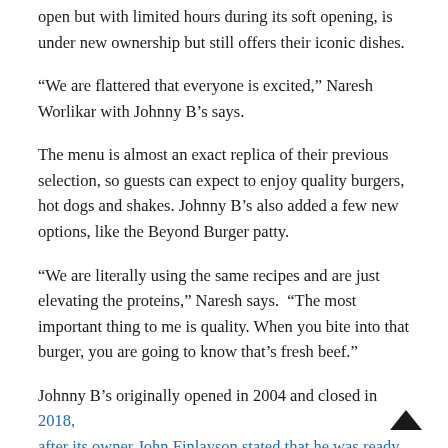open but with limited hours during its soft opening, is under new ownership but still offers their iconic dishes.
“We are flattered that everyone is excited,” Naresh Worlikar with Johnny B’s says.
The menu is almost an exact replica of their previous selection, so guests can expect to enjoy quality burgers, hot dogs and shakes. Johnny B’s also added a few new options, like the Beyond Burger patty.
“We are literally using the same recipes and are just elevating the proteins,” Naresh says.  “The most important thing to me is quality. When you bite into that burger, you are going to know that’s fresh beef.”
Johnny B’s originally opened in 2004 and closed in 2018, after its owner John Finlayson stated that he was ready to retire. Now he’s back and working with the new...